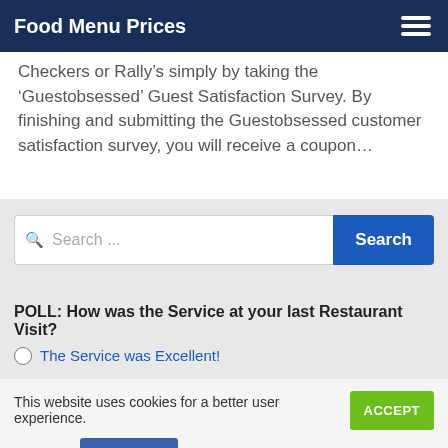Food Menu Prices
Checkers or Rally’s simply by taking the ‘Guestobsessed’ Guest Satisfaction Survey. By finishing and submitting the Guestobsessed customer satisfaction survey, you will receive a coupon…
Search ...
POLL: How was the Service at your last Restaurant Visit?
The Service was Excellent!
This website uses cookies for a better user experience.